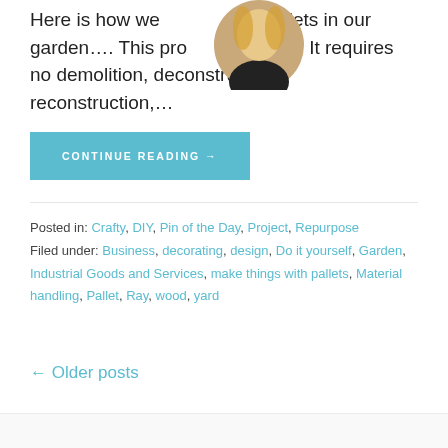Here is how we use pallets in our garden.... This project is EASY. It requires no demolition, deconstruction, reconstruction,...
CONTINUE READING →
Posted in: Crafty, DIY, Pin of the Day, Project, Repurpose
Filed under: Business, decorating, design, Do it yourself, Garden, Industrial Goods and Services, make things with pallets, Material handling, Pallet, Ray, wood, yard
← Older posts